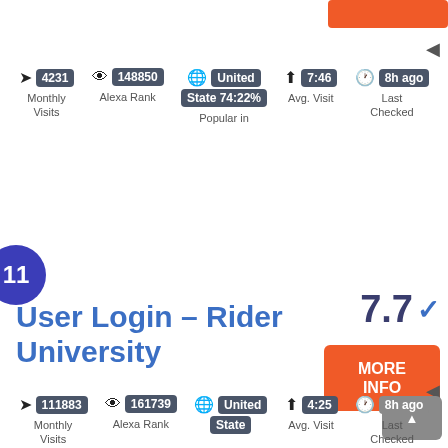[Figure (screenshot): Partial orange button at top right]
4231 Monthly Visits | 148850 Alexa Rank | United State 74:22% Popular in | 7:46 Avg. Visit | 8h ago Last Checked
11
User Login – Rider University
7.7 ✓
MORE INFO
111883 Monthly Visits | 161739 Alexa Rank | United State | 4:25 Avg. Visit | 8h ago Last Checked